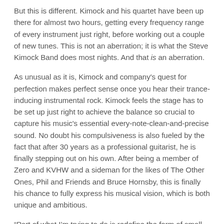But this is different. Kimock and his quartet have been up there for almost two hours, getting every frequency range of every instrument just right, before working out a couple of new tunes. This is not an aberration; it is what the Steve Kimock Band does most nights. And that is an aberration.
As unusual as it is, Kimock and company's quest for perfection makes perfect sense once you hear their trance-inducing instrumental rock. Kimock feels the stage has to be set up just right to achieve the balance so crucial to capture his music's essential every-note-clean-and-precise sound. No doubt his compulsiveness is also fueled by the fact that after 30 years as a professional guitarist, he is finally stepping out on his own. After being a member of Zero and KVHW and a sideman for the likes of The Other Ones, Phil and Friends and Bruce Hornsby, this is finally his chance to fully express his musical vision, which is both unique and ambitious.
“Part of what I’m trying to do is redefine the form of small band improvisation,” says Kimock, restringing his guitar while sitting on a couch in the Bowery’s dressing room. “I want to create some different forms that just the same ol’ organic, ramp up, climax, fall